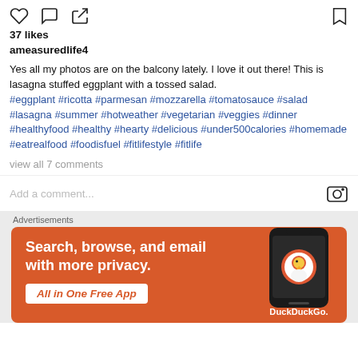[Figure (screenshot): Instagram action icons row: heart (like), comment bubble, share arrow on left; bookmark on right]
37 likes
ameasuredlife4
Yes all my photos are on the balcony lately. I love it out there! This is lasagna stuffed eggplant with a tossed salad.
#eggplant #ricotta #parmesan #mozzarella #tomatosauce #salad #lasagna #summer #hotweather #vegetarian #veggies #dinner #healthyfood #healthy #hearty #delicious #under500calories #homemade #eatrealfood #foodisfuel #fitlifestyle #fitlife
view all 7 comments
Add a comment...
Advertisements
[Figure (screenshot): DuckDuckGo advertisement banner with orange background. Text: Search, browse, and email with more privacy. All in One Free App. Shows a phone with DuckDuckGo logo.]